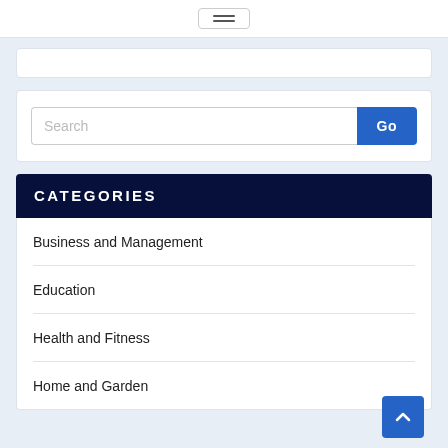≡ (hamburger menu button)
Search
CATEGORIES
Business and Management
Education
Health and Fitness
Home and Garden